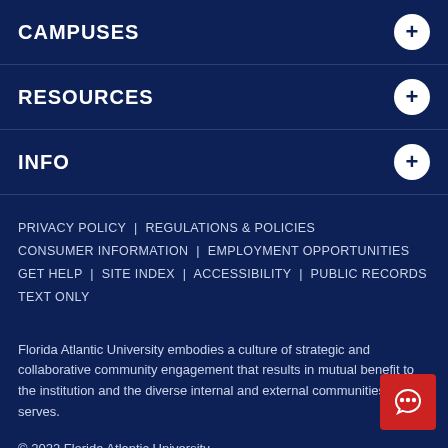CAMPUSES
RESOURCES
INFO
PRIVACY POLICY | REGULATIONS & POLICIES CONSUMER INFORMATION | EMPLOYMENT OPPORTUNITIES GET HELP | SITE INDEX | ACCESSIBILITY | PUBLIC RECORDS TEXT ONLY
Florida Atlantic University embodies a culture of strategic and collaborative community engagement that results in mutual benefit to the institution and the diverse internal and external communities that it serves.
© 2022 Florida Atlantic University